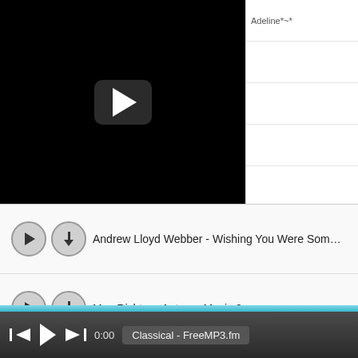[Figure (screenshot): Video player area showing black screen with play button overlay]
Adeline*~*
Andrew Lloyd Webber - Wishing You Were Somehow Here Again
Max Richter - Autumn Music 2
Chelsea Wolfe- Pale on Pale
0:00
Classical - FreeMP3.fm